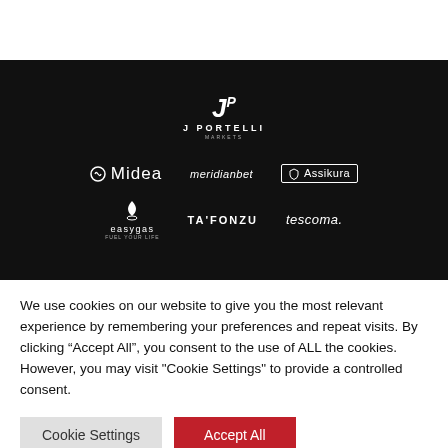[Figure (logo): Dark banner with J PORTELLI logo at top center, then two rows of sponsor/partner logos: Midea, meridianbet, Assikura (top row); easygas, TA'FONZU, tescoma. (bottom row)]
We use cookies on our website to give you the most relevant experience by remembering your preferences and repeat visits. By clicking “Accept All”, you consent to the use of ALL the cookies. However, you may visit "Cookie Settings" to provide a controlled consent.